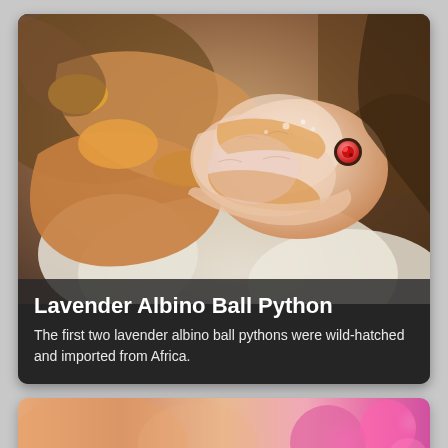[Figure (photo): Close-up photo of a Lavender Albino Ball Python hatching from an egg. The snake has pink and golden-orange patterning with a red eye, emerging from a white egg. A dark semi-transparent overlay at the bottom contains title and description text.]
Lavender Albino Ball Python
The first two lavender albino ball pythons were wild-hatched and imported from Africa.
[Figure (photo): Partial bottom card showing a blurred pink and orange bokeh background, likely another reptile or nature photo card, only partially visible at the bottom of the page.]